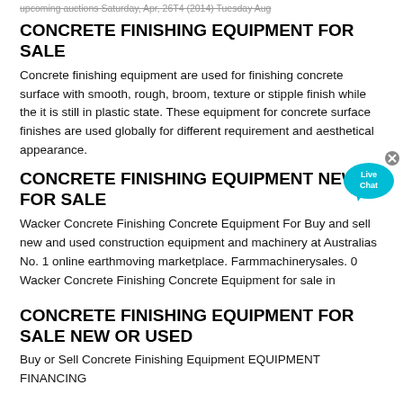upcoming auctions Saturday, Apr, 26T4 (2014) Tuesday Aug
CONCRETE FINISHING EQUIPMENT FOR SALE
Concrete finishing equipment are used for finishing concrete surface with smooth, rough, broom, texture or stipple finish while the it is still in plastic state. These equipment for concrete surface finishes are used globally for different requirement and aesthetical appearance.
CONCRETE FINISHING EQUIPMENT NEW FOR SALE
Wacker Concrete Finishing Concrete Equipment For Buy and sell new and used construction equipment and machinery at Australias No. 1 online earthmoving marketplace. Farmmachinerysales. 0 Wacker Concrete Finishing Concrete Equipment for sale in
CONCRETE FINISHING EQUIPMENT FOR SALE NEW OR USED
Buy or Sell Concrete Finishing Equipment EQUIPMENT FINANCING